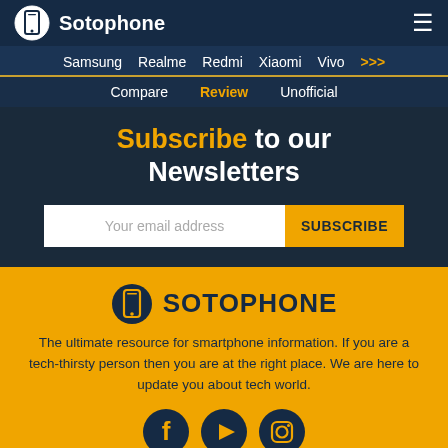Sotophone — navigation logo and hamburger menu
Samsung  Realme  Redmi  Xiaomi  Vivo  >>>
Compare  Review  Unofficial
Subscribe to our Newsletters
Your email address  SUBSCRIBE
[Figure (logo): Sotophone logo with phone icon]
The ultimate resource for smartphone information. If you are a tech-thirsty person then you are at the right place. We are here to update you about tech world.
[Figure (illustration): Social media icons: Facebook, YouTube, Instagram]